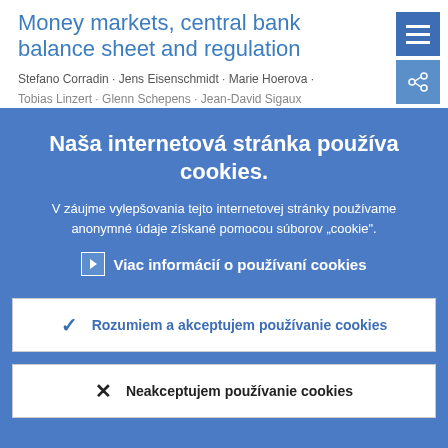Money markets, central bank balance sheet and regulation
Stefano Corradin · Jens Eisenschmidt · Marie Hoerova ·
Tobias Linzert · Glenn Schepens · Jean-David Sigaux
Naša internetová stránka používa cookies.
V záujme vylepšovania tejto internetovej stránky používame anonymné údaje získané pomocou súborov „cookie".
> Viac informácií o používaní cookies
✓ Rozumiem a akceptujem používanie cookies
✗ Neakceptujem používanie cookies